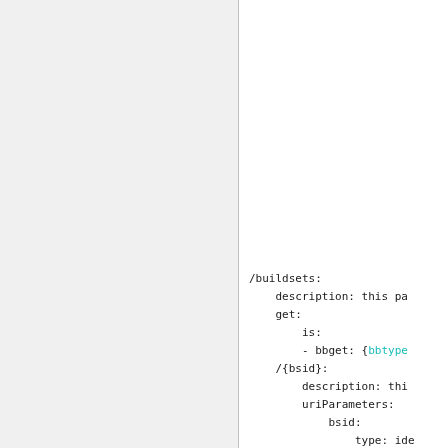/buildsets:
    description: this pa
    get:
        is:
        - bbget: {bbtype
    /{bsid}:
        description: thi
        uriParameters:
            bsid:
                type: id
                descript:
        get:
            is:
            - bbget: {bb
        /properties:
            description:
                This pat